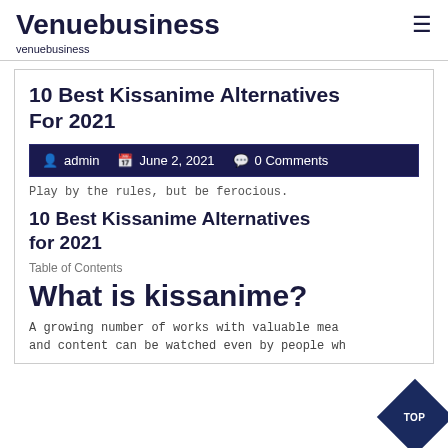Venuebusiness
venuebusiness
10 Best Kissanime Alternatives For 2021
admin  June 2, 2021  0 Comments
Play by the rules, but be ferocious.
10 Best Kissanime Alternatives for 2021
Table of Contents
What is kissanime?
A growing number of works with valuable meaning and content can be watched even by people who